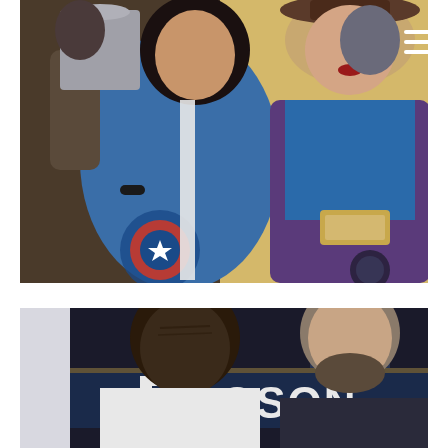[Figure (photo): Two women at a comic convention. The woman on the left wears a Captain America t-shirt and holds up a book/item. The woman on the right wears a blue top with a purple jacket and a name badge, and a cowboy hat.]
[Figure (photo): Two men at a signing table at what appears to be a convention. There is signage behind them including partial text 'OSON'. One man is leaning forward, the other is bald with a beard.]